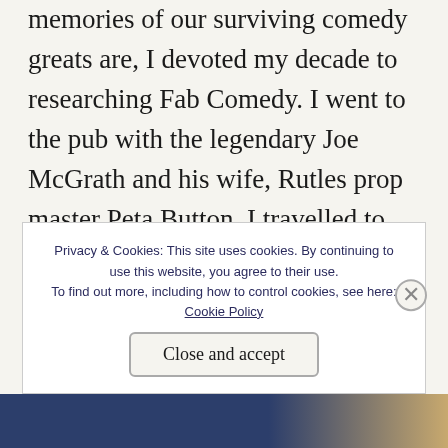memories of our surviving comedy greats are, I devoted my decade to researching Fab Comedy. I went to the pub with the legendary Joe McGrath and his wife, Rutles prop master Peta Button, I travelled to Yeovil for a touching meeting with pop TV pioneer, Vicar of Dibley star and one of the few living Beatles comedy co-performers, Trevor Peacock, I reminisced with Roger McGough (dey do dough don't dey dough), I had encouraging chats with fellow Beatle obsessive comedy types like Kevin Eldon and Jason ...
Privacy & Cookies: This site uses cookies. By continuing to use this website, you agree to their use. To find out more, including how to control cookies, see here: Cookie Policy
Close and accept